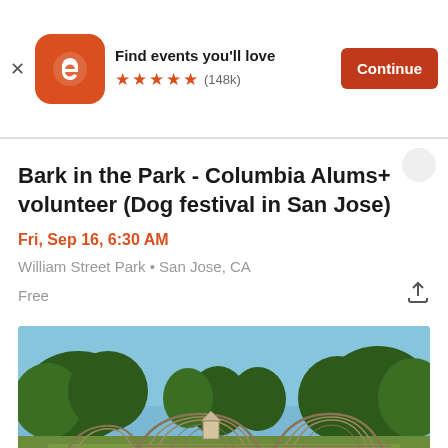Find events you'll love ★★★★★ (148k) Continue
Bark in the Park - Columbia Alums+ volunteer (Dog festival in San Jose)
Fri, Sep 16, 6:30 AM
William Street Park • San Jose, CA
Free
[Figure (photo): Outdoor park garden with metal arch trellis structures over planted beds with sunflowers and green plants, trees in background under blue sky]